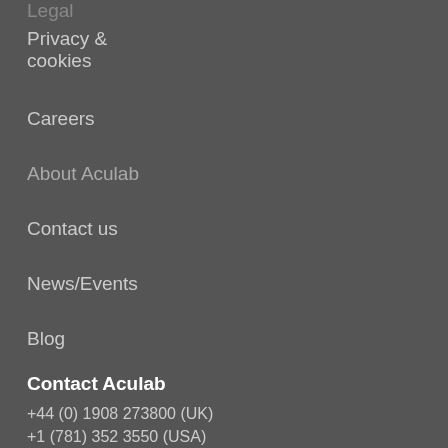Legal
Privacy & cookies
Careers
About Aculab
Contact us
News/Events
Blog
Contact Aculab
+44 (0) 1908 273800 (UK)
+1 (781) 352 3550 (USA)